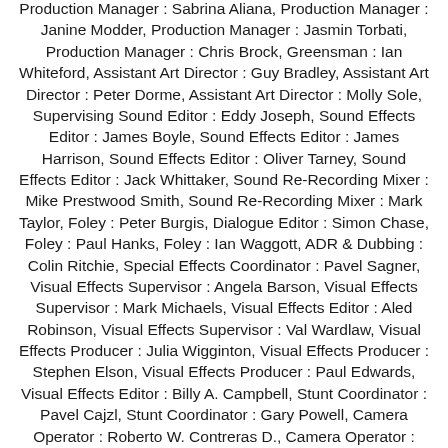Production Manager : Sabrina Aliana, Production Manager : Janine Modder, Production Manager : Jasmin Torbati, Production Manager : Chris Brock, Greensman : Ian Whiteford, Assistant Art Director : Guy Bradley, Assistant Art Director : Peter Dorme, Assistant Art Director : Molly Sole, Supervising Sound Editor : Eddy Joseph, Sound Effects Editor : James Boyle, Sound Effects Editor : James Harrison, Sound Effects Editor : Oliver Tarney, Sound Effects Editor : Jack Whittaker, Sound Re-Recording Mixer : Mike Prestwood Smith, Sound Re-Recording Mixer : Mark Taylor, Foley : Peter Burgis, Dialogue Editor : Simon Chase, Foley : Paul Hanks, Foley : Ian Waggott, ADR & Dubbing : Colin Ritchie, Special Effects Coordinator : Pavel Sagner, Visual Effects Supervisor : Angela Barson, Visual Effects Supervisor : Mark Michaels, Visual Effects Editor : Aled Robinson, Visual Effects Supervisor : Val Wardlaw, Visual Effects Producer : Julia Wigginton, Visual Effects Producer : Stephen Elson, Visual Effects Producer : Paul Edwards, Visual Effects Editor : Billy A. Campbell, Stunt Coordinator : Pavel Cajzl, Stunt Coordinator : Gary Powell, Camera Operator : Roberto W. Contreras D., Camera Operator : Clive Jackson, Camera Operator : Roger Pearce, Camera Operator : Karl Morgan, Camera Operator : Jasmin Cadiz